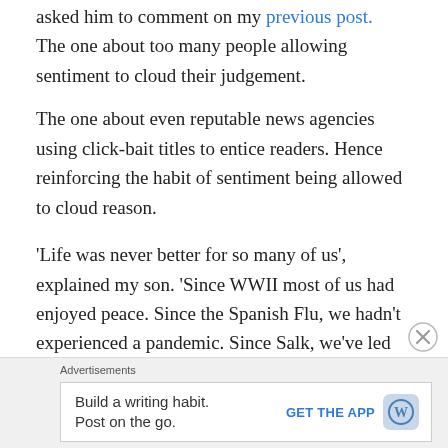asked him to comment on my previous post.
The one about too many people allowing sentiment to cloud their judgement.
The one about even reputable news agencies using click-bait titles to entice readers. Hence reinforcing the habit of sentiment being allowed to cloud reason.
‘Life was never better for so many of us’, explained my son. ‘Since WWII most of us had enjoyed peace. Since the Spanish Flu, we hadn’t experienced a pandemic. Since Salk, we’ve led ourselves to believe we were safe from disease. Since the fall of communism, even the ideological divides have paled down. And now we have enough technology to feed the entire planet, comfortably. The point
Advertisements
Build a writing habit. Post on the go.
GET THE APP